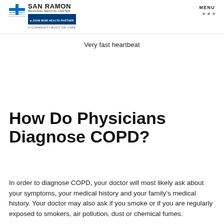San Ramon Regional Medical Center — A John Muir Health Partner — A Community Built On Care | MENU
Very fast heartbeat
How Do Physicians Diagnose COPD?
In order to diagnose COPD, your doctor will most likely ask about your symptoms, your medical history and your family's medical history. Your doctor may also ask if you smoke or if you are regularly exposed to smokers, air pollution, dust or chemical fumes.